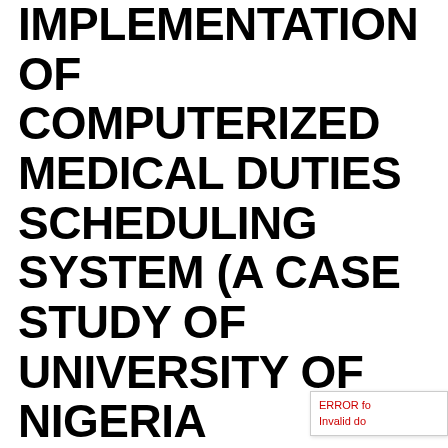IMPLEMENTATION OF COMPUTERIZED MEDICAL DUTIES SCHEDULING SYSTEM (A CASE STUDY OF UNIVERSITY OF NIGERIA TEACHING HOSPITAL). A RESEARCH PROJECT MATERIAL ON COMPUTER SCIENCE